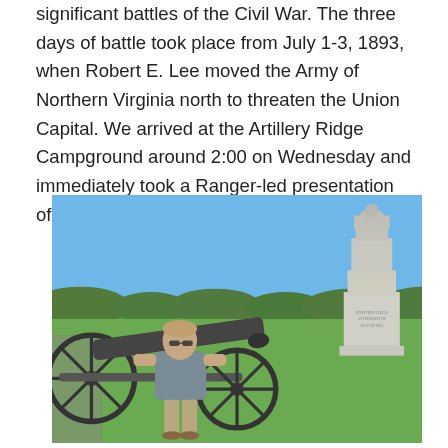significant battles of the Civil War. The three days of battle took place from July 1-3, 1893, when Robert E. Lee moved the Army of Northern Virginia north to threaten the Union Capital. We arrived at the Artillery Ridge Campground around 2:00 on Wednesday and immediately took a Ranger-led presentation of the third day of the battle.
[Figure (photo): A man standing next to a Civil War cannon on a battlefield, with a stone monument/marker visible to his right. The background shows an open green field, trees in the distance, and a clear blue sky. The setting appears to be Gettysburg battlefield.]